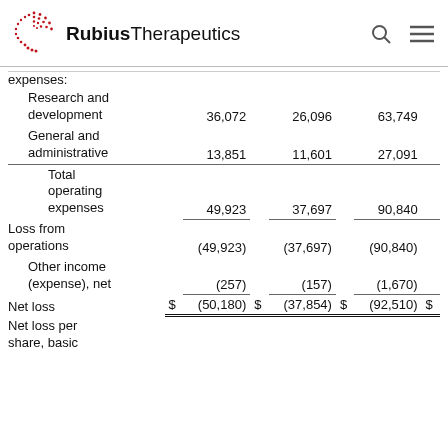Rubius Therapeutics
|  |  |  |  |  |  |  |  |
| --- | --- | --- | --- | --- | --- | --- | --- |
| expenses: |  |  |  |  |  |  |  |
| Research and development |  | 36,072 |  | 26,096 |  | 63,749 |  |
| General and administrative |  | 13,851 |  | 11,601 |  | 27,091 |  |
| Total operating expenses |  | 49,923 |  | 37,697 |  | 90,840 |  |
| Loss from operations |  | (49,923) |  | (37,697) |  | (90,840) |  |
| Other income (expense), net |  | (257) |  | (157) |  | (1,670) |  |
| Net loss | $ | (50,180) | $ | (37,854) | $ | (92,510) | $ |
| Net loss per share, basic and diluted | $ | (1.78) | $ | (1.17) | $ | (4.18) | $ |